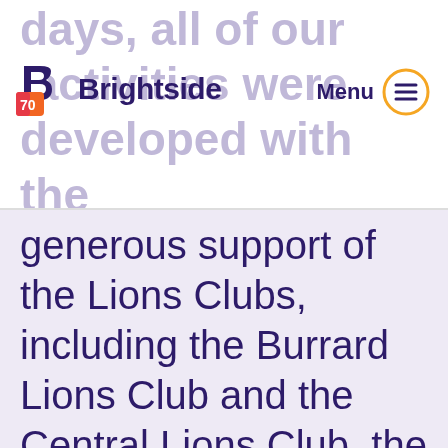days, all of our activities were developed with the
[Figure (logo): Brightside logo with colorful B icon and 70 anniversary mark]
Menu
generous support of the Lions Clubs, including the Burrard Lions Club and the Central Lions Club, the Western Institute for the Deaf, the King's Daughters, the Ladies